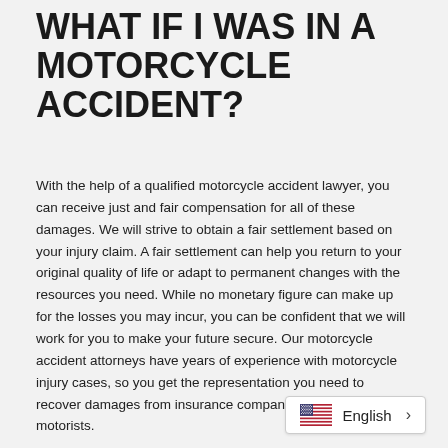WHAT IF I WAS IN A MOTORCYCLE ACCIDENT?
With the help of a qualified motorcycle accident lawyer, you can receive just and fair compensation for all of these damages. We will strive to obtain a fair settlement based on your injury claim. A fair settlement can help you return to your original quality of life or adapt to permanent changes with the resources you need. While no monetary figure can make up for the losses you may incur, you can be confident that we will work for you to make your future secure. Our motorcycle accident attorneys have years of experience with motorcycle injury cases, so you get the representation you need to recover damages from insurance companies or negligent motorists.
Contact us today for a free consultation.
[Figure (other): Language selector widget showing US flag and 'English' text with a right chevron arrow]